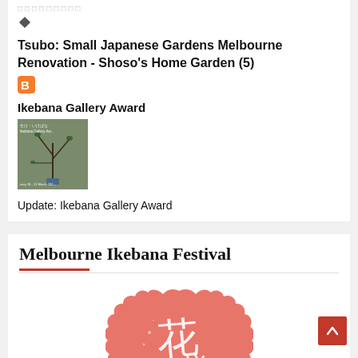□□□□□□□□□
[Figure (logo): Diamond/rhombus shaped icon in dark grey]
Tsubo: Small Japanese Gardens Melbourne Renovation - Shoso's Home Garden (5)
[Figure (logo): Blogger orange B icon]
Ikebana Gallery Award
[Figure (photo): Thumbnail photo of an ikebana flower arrangement display, with text overlay reading 'Ikebana Gallery Award' and date information]
Update: Ikebana Gallery Award
Melbourne Ikebana Festival
[Figure (logo): Pink/salmon wavy badge/seal shape with white Japanese calligraphy characters inside]